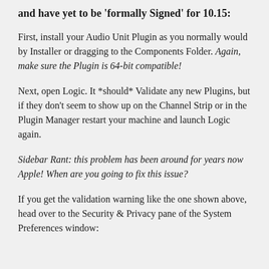and have yet to be 'formally Signed' for 10.15:
First, install your Audio Unit Plugin as you normally would by Installer or dragging to the Components Folder. Again, make sure the Plugin is 64-bit compatible!
Next, open Logic. It *should* Validate any new Plugins, but if they don't seem to show up on the Channel Strip or in the Plugin Manager restart your machine and launch Logic again.
Sidebar Rant: this problem has been around for years now Apple! When are you going to fix this issue?
If you get the validation warning like the one shown above, head over to the Security & Privacy pane of the System Preferences window: